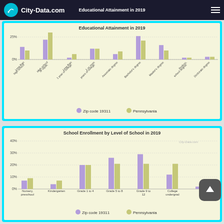City-Data.com — Educational Attainment in 2019
[Figure (grouped-bar-chart): Educational Attainment in 2019]
[Figure (grouped-bar-chart): School Enrollment by Level of School in 2019]